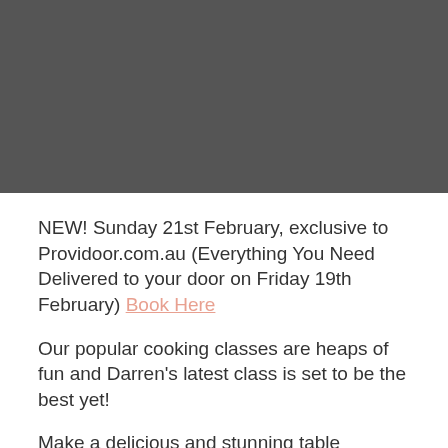[Figure (photo): Dark grey/charcoal colored image block occupying the top portion of the page]
NEW! Sunday 21st February, exclusive to Providoor.com.au (Everything You Need Delivered to your door on Friday 19th February) Book Here
Our popular cooking classes are heaps of fun and Darren's latest class is set to be the best yet!
Make a delicious and stunning table centrepiece dessert to food up to 8 friends and family